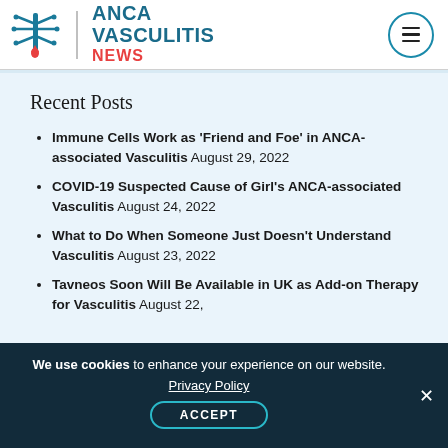[Figure (logo): ANCA Vasculitis News logo with stylized blood vessel/cell graphic in teal and red, text reads ANCA VASCULITIS NEWS]
Recent Posts
Immune Cells Work as ‘Friend and Foe’ in ANCA-associated Vasculitis August 29, 2022
COVID-19 Suspected Cause of Girl’s ANCA-associated Vasculitis August 24, 2022
What to Do When Someone Just Doesn’t Understand Vasculitis August 23, 2022
Tavneos Soon Will Be Available in UK as Add-on Therapy for Vasculitis August 22,
We use cookies to enhance your experience on our website. Privacy Policy ACCEPT